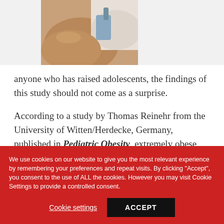[Figure (photo): Close-up photo of a medical professional giving an injection or blood pressure measurement to a patient's arm]
anyone who has raised adolescents, the findings of this study should not come as a surprise.
According to a study by Thomas Reinehr from the University of Witten/Herdecke, Germany, published in Pediatric Obesity, extremely obese children respond better than extremely
We use cookies on our website to give you the most relevant experience by remembering your preferences and repeat visits. By clicking "Accept", you consent to the use of ALL the cookies. However you may visit Cookie Settings to provide a controlled consent.